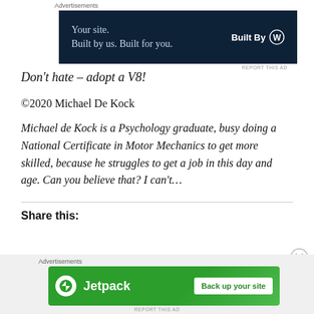[Figure (other): Top advertisement banner: dark navy background with text 'Your site. Built by us. Built for you.' and 'Built By' with WordPress logo on the right.]
Don't hate – adopt a V8!
©2020 Michael De Kock
Michael de Kock is a Psychology graduate, busy doing a National Certificate in Motor Mechanics to get more skilled, because he struggles to get a job in this day and age. Can you believe that? I can't…
Share this:
[Figure (other): Bottom advertisement banner: green background with Jetpack logo and 'Back up your site' button.]